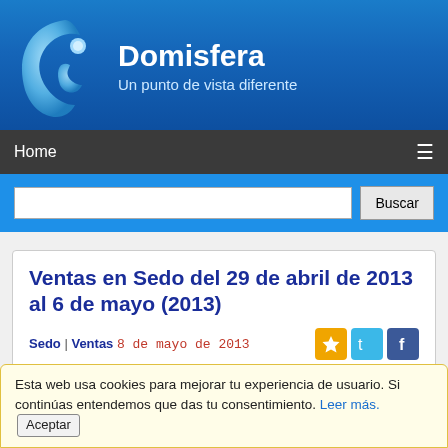[Figure (logo): Domisfera website header with logo (blue crescent/fish shape with dot) and site name 'Domisfera' with tagline 'Un punto de vista diferente' on blue gradient background]
Home ≡
Buscar (search bar)
Ventas en Sedo del 29 de abril de 2013 al 6 de mayo (2013)
Sedo | Ventas 8 de mayo de 2013
Sedo suministra a Domisfera la lista de las ventas de la semana pasada...
Esta web usa cookies para mejorar tu experiencia de usuario. Si continúas entendemos que das tu consentimiento. Leer más. Aceptar